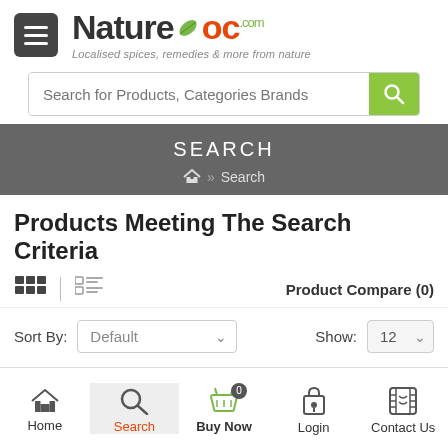[Figure (logo): NatureLoc.com logo with hamburger menu icon, tagline: Localised spices, remedies & more from nature]
Search for Products, Categories Brands
SEARCH
🏠 » Search
Products Meeting The Search Criteria
Product Compare (0)
Sort By:  Default    Show: 12
[Figure (screenshot): Bottom navigation bar with Home, Search (active), Buy Now (with cart and 0 badge), Login, Contact Us icons]